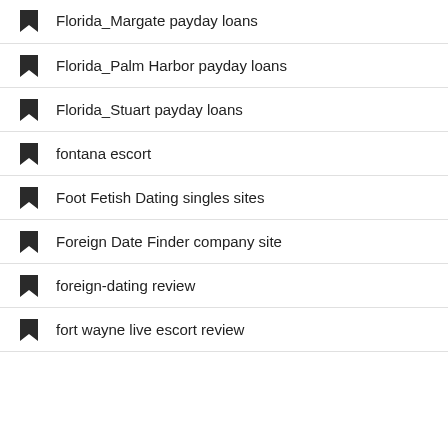Florida_Margate payday loans
Florida_Palm Harbor payday loans
Florida_Stuart payday loans
fontana escort
Foot Fetish Dating singles sites
Foreign Date Finder company site
foreign-dating review
fort wayne live escort review